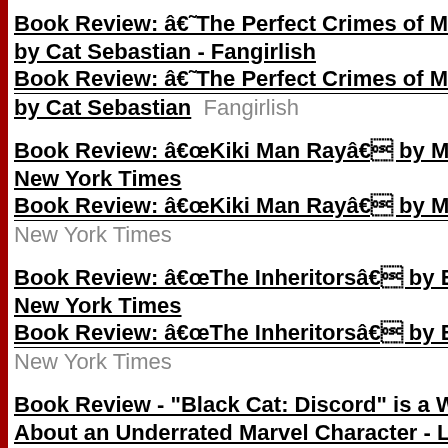Book Review: â€˜The Perfect Crimes of Marian by Cat Sebastian - Fangirlish
Book Review: â€˜The Perfect Crimes of Marian by Cat Sebastian  Fangirlish
Book Review: â€œKiki Man Rayâ€ by Mark B New York Times
Book Review: â€œKiki Man Rayâ€ by Mark B New York Times
Book Review: â€œThe Inheritorsâ€ by Eve Fa New York Times
Book Review: â€œThe Inheritorsâ€ by Eve Fa New York Times
Book Review - "Black Cat: Discord" is a Wildly About an Underrated Marvel Character - Laugh